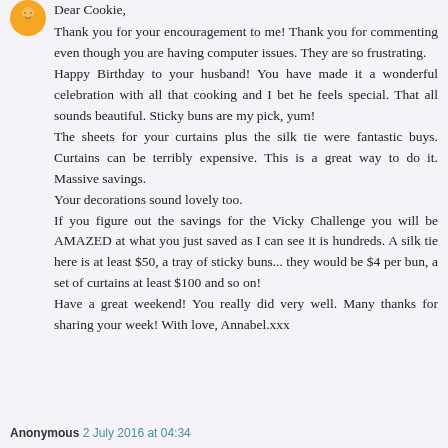[Figure (illustration): Orange circular avatar/emoji icon in top left corner]
Dear Cookie,
Thank you for your encouragement to me! Thank you for commenting even though you are having computer issues. They are so frustrating.
Happy Birthday to your husband! You have made it a wonderful celebration with all that cooking and I bet he feels special. That all sounds beautiful. Sticky buns are my pick, yum!
The sheets for your curtains plus the silk tie were fantastic buys. Curtains can be terribly expensive. This is a great way to do it. Massive savings.
Your decorations sound lovely too.
If you figure out the savings for the Vicky Challenge you will be AMAZED at what you just saved as I can see it is hundreds. A silk tie here is at least $50, a tray of sticky buns... they would be $4 per bun, a set of curtains at least $100 and so on!
Have a great weekend! You really did very well. Many thanks for sharing your week! With love, Annabel.xxx
Anonymous 2 July 2016 at 04:34